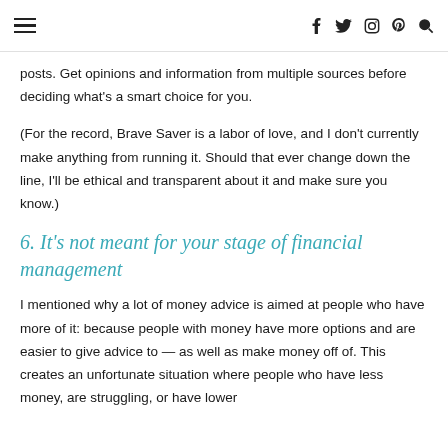≡  f  twitter  instagram  pinterest  search
posts. Get opinions and information from multiple sources before deciding what's a smart choice for you.
(For the record, Brave Saver is a labor of love, and I don't currently make anything from running it. Should that ever change down the line, I'll be ethical and transparent about it and make sure you know.)
6. It's not meant for your stage of financial management
I mentioned why a lot of money advice is aimed at people who have more of it: because people with money have more options and are easier to give advice to — as well as make money off of. This creates an unfortunate situation where people who have less money, are struggling, or have lower incomes, how that information does not reach them.